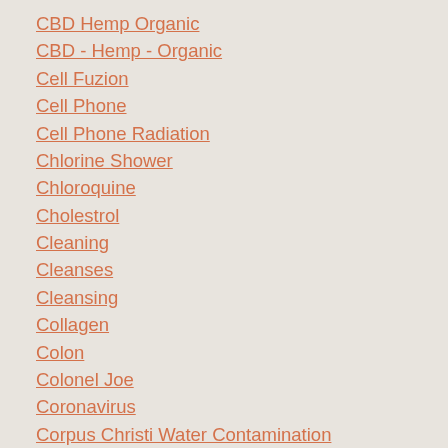CBD Hemp Organic
CBD - Hemp - Organic
Cell Fuzion
Cell Phone
Cell Phone Radiation
Chlorine Shower
Chloroquine
Cholestrol
Cleaning
Cleanses
Cleansing
Collagen
Colon
Colonel Joe
Coronavirus
Corpus Christi Water Contamination
Cortisol
Covid 19 Virus
CS BrainSense
Curcumin
Cyanobacteria
Dandelion Root